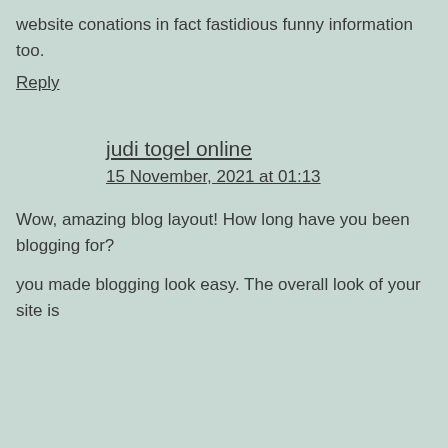website conations in fact fastidious funny information too.
Reply
judi togel online
15 November, 2021 at 01:13
Wow, amazing blog layout! How long have you been blogging for?
you made blogging look easy. The overall look of your site is